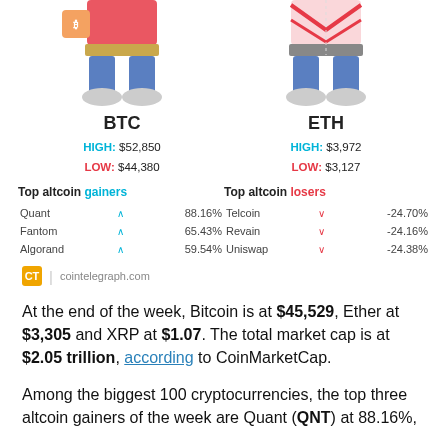[Figure (illustration): Two illustrated cryptocurrency characters: BTC (Bitcoin) on the left showing legs/feet with a robot-like character, and ETH (Ethereum) on the right with similar style. Both characters shown from waist down with coin-themed torsos/accessories.]
| Coin | HIGH | LOW |
| --- | --- | --- |
| BTC | $52,850 | $44,380 |
| ETH | $3,972 | $3,127 |
| Top altcoin gainers | arrow | % | Top altcoin losers | arrow | % |
| --- | --- | --- | --- | --- | --- |
| Quant | ↑ | 88.16% | Telcoin | ↓ | -24.70% |
| Fantom | ↑ | 65.43% | Revain | ↓ | -24.16% |
| Algorand | ↑ | 59.54% | Uniswap | ↓ | -24.38% |
cointelegraph.com
At the end of the week, Bitcoin is at $45,529, Ether at $3,305 and XRP at $1.07. The total market cap is at $2.05 trillion, according to CoinMarketCap.
Among the biggest 100 cryptocurrencies, the top three altcoin gainers of the week are Quant (QNT) at 88.16%,